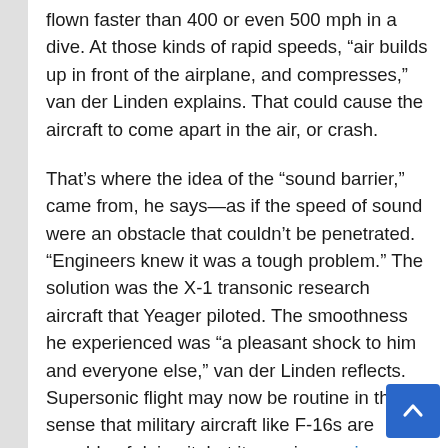flown faster than 400 or even 500 mph in a dive. At those kinds of rapid speeds, “air builds up in front of the airplane, and compresses,” van der Linden explains. That could cause the aircraft to come apart in the air, or crash.
That’s where the idea of the “sound barrier,” came from, he says—as if the speed of sound were an obstacle that couldn’t be penetrated. “Engineers knew it was a tough problem.” The solution was the X-1 transonic research aircraft that Yeager piloted. The smoothness he experienced was “a pleasant shock to him and everyone else,” van der Linden reflects. Supersonic flight may now be routine in the sense that military aircraft like F-16s are capable of doing it, but it remains a pricey, fuel-